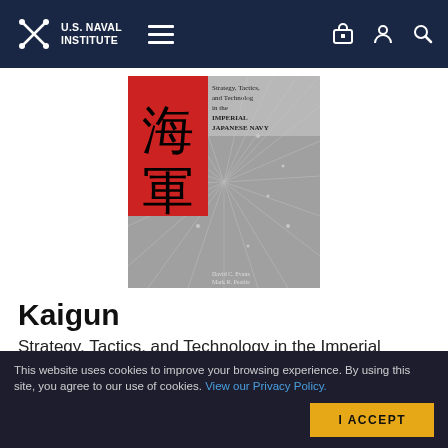U.S. Naval Institute
[Figure (photo): Book cover of Kaigun: Strategy, Tactics, and Technology in the Imperial Japanese Navy 1887-1941. Red panel with Japanese kanji characters on left, grey map background with radiating lines on right.]
Kaigun
Strategy, Tactics, and Technology in the Imperial Japanese Navy, 1887-1941
By David C. Evans and Mark R. Peattie
One of the most...
This website uses cookies to improve your browsing experience. By using this site, you agree to our use of cookies. View our Privacy Policy.